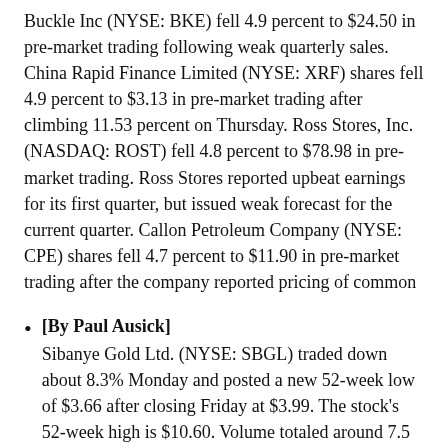Buckle Inc (NYSE: BKE) fell 4.9 percent to $24.50 in pre-market trading following weak quarterly sales. China Rapid Finance Limited (NYSE: XRF) shares fell 4.9 percent to $3.13 in pre-market trading after climbing 11.53 percent on Thursday. Ross Stores, Inc. (NASDAQ: ROST) fell 4.8 percent to $78.98 in pre-market trading. Ross Stores reported upbeat earnings for its first quarter, but issued weak forecast for the current quarter. Callon Petroleum Company (NYSE: CPE) shares fell 4.7 percent to $11.90 in pre-market trading after the company reported pricing of common
[By Paul Ausick] Sibanye Gold Ltd. (NYSE: SBGL) traded down about 8.3% Monday and posted a new 52-week low of $3.66 after closing Friday at $3.99. The stock's 52-week high is $10.60. Volume totaled around 7.5 million, about double the daily average. The company